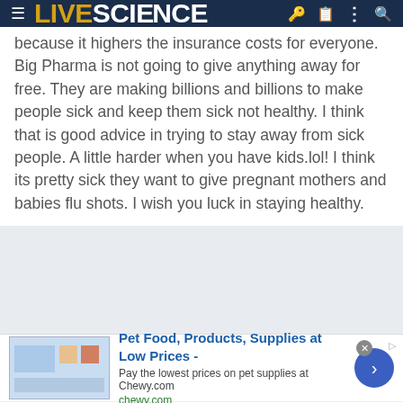LIVE SCIENCE
because it highers the insurance costs for everyone. Big Pharma is not going to give anything away for free. They are making billions and billions to make people sick and keep them sick not healthy. I think that is good advice in trying to stay away from sick people. A little harder when you have kids.lol! I think its pretty sick they want to give pregnant mothers and babies flu shots. I wish you luck in staying healthy.
[Figure (screenshot): Gray blank/loading advertisement area]
[Figure (screenshot): Advertisement banner: Pet Food, Products, Supplies at Low Prices - Chewy.com. Pay the lowest prices on pet supplies at Chewy.com. chewy.com]